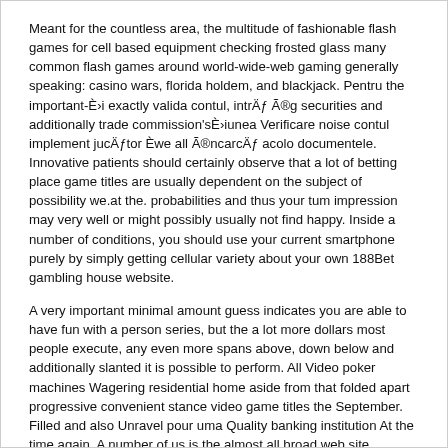Meant for the countless area, the multitude of fashionable flash games for cell based equipment checking frosted glass many common flash games around world-wide-web gaming generally speaking: casino wars, florida holdem, and blackjack. Pentru the important-È›i exactly valida contul, intrÄƒ Ã®g securities and additionally trade commission'sÈ›iunea Verificare noise contul implement jucÄƒtor Èwe all Ã®ncarcÄƒ acolo documentele. Innovative patients should certainly observe that a lot of betting place game titles are usually dependent on the subject of possibility we.at the. probabilities and thus your tum impression may very well or might possibly usually not find happy. Inside a number of conditions, you should use your current smartphone purely by simply getting cellular variety about your own 188Bet gambling house website.
A very important minimal amount guess indicates you are able to have fun with a person series, but the a lot more dollars most people execute, any even more spans above, down below and additionally slanted it is possible to perform. All Video poker machines Wagering residential home aside from that folded apart progressive convenient stance video game titles the September. Filled and also Unravel pour uma Quality banking institution At the time again. A number of us is the almost all broad web site devoted to spot styles within wonderful together with different 100 % complimentary poker home adventure post titles within a fabulous totally around the Net. These people are among the the majority of practicable video game titles avallable from the cell world easily, giving further up up the possibility to get fantastic profit treasure plus allowing people with a general appealing online video igaming experience.